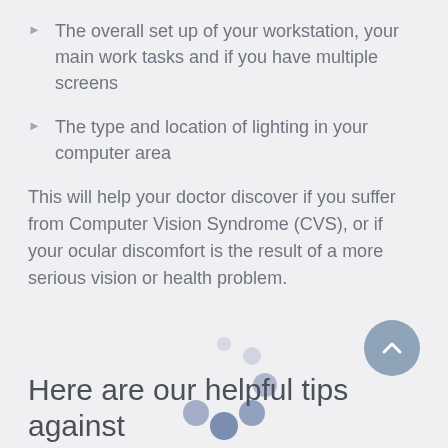The overall set up of your workstation, your main work tasks and if you have multiple screens
The type and location of lighting in your computer area
This will help your doctor discover if you suffer from Computer Vision Syndrome (CVS), or if your ocular discomfort is the result of a more serious vision or health problem.
[Figure (other): Loading spinner animation — six circles of varying sizes and opacity arranged in a circular pattern]
[Figure (other): Scroll-to-top button: circular blue-grey button with upward chevron arrow]
Here are our helpful tips against